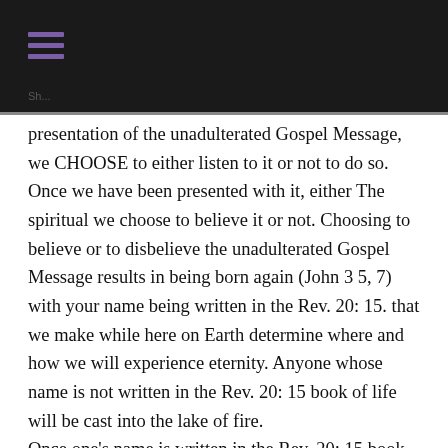presentation of the unadulterated Gospel Message, we CHOOSE to either listen to it or not to do so. Once we have been presented with it, either The spiritual we choose to believe it or not. Choosing to believe or to disbelieve the unadulterated Gospel Message results in being born again (John 3 5, 7) with your name being written in the Rev. 20: 15. that we make while here on Earth determine where and how we will experience eternity. Anyone whose name is not written in the Rev. 20: 15 book of life will be cast into the lake of fire.
Once one's name is written in the Rev. 20: 15 book of life, WHERE he or she will be spending all of eternity has been settled. HOW a born again believers will experience eternity (with or without reward and or privileges) is dependent on the quality of his or her post salvation spiritual life.
The integrity of a born again believer's salvation will never be decreased (Romans 8: 1). However, one's level of spiritual